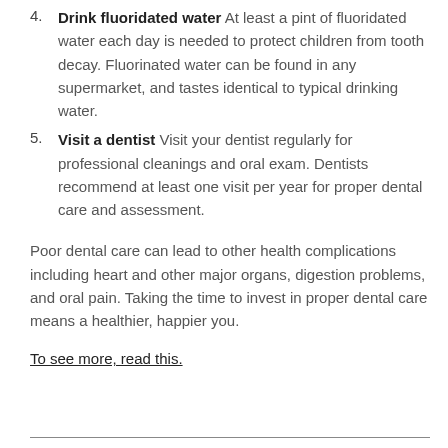4. Drink fluoridated water At least a pint of fluoridated water each day is needed to protect children from tooth decay. Fluorinated water can be found in any supermarket, and tastes identical to typical drinking water.
5. Visit a dentist Visit your dentist regularly for professional cleanings and oral exam. Dentists recommend at least one visit per year for proper dental care and assessment.
Poor dental care can lead to other health complications including heart and other major organs, digestion problems, and oral pain. Taking the time to invest in proper dental care means a healthier, happier you.
To see more, read this.